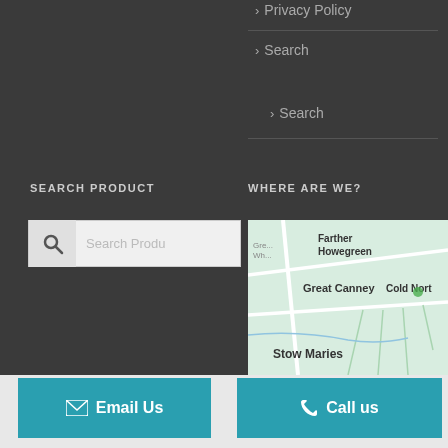> Privacy Policy
> Search
> Search
SEARCH PRODUCT
WHERE ARE WE?
[Figure (screenshot): Search product input box with magnifying glass icon and placeholder text 'Search Produ']
[Figure (map): Google Maps style map showing Farther Howegreen, Great Canney, Cold Norton, and Stow Maries locations]
✉ Email Us
✆ Call us